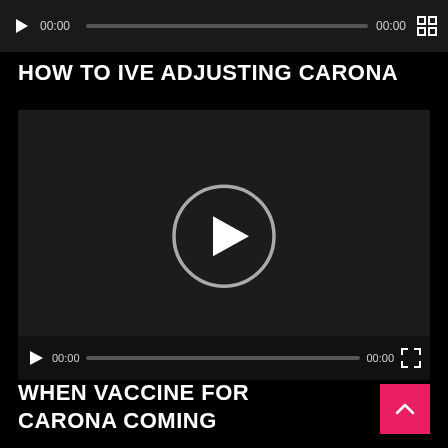[Figure (screenshot): Partial video player controls bar at top with play button, 00:00 time stamps, progress bar, and fullscreen icon]
HOW TO IVE ADJUSTING CARONA
[Figure (screenshot): Video player with dark background, large circular play button in center, and video controls at bottom showing play, 00:00, progress bar, 00:00, fullscreen button]
WHEN VACCINE FOR CARONA COMING